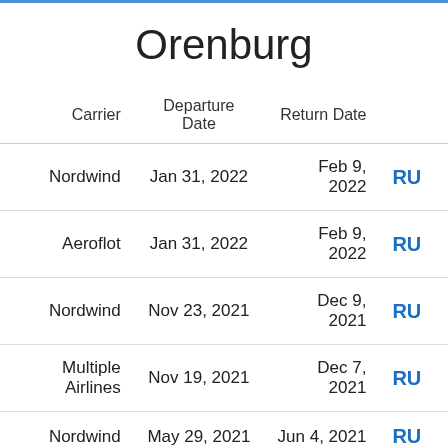Orenburg
| Carrier | Departure Date | Return Date |  |
| --- | --- | --- | --- |
| Nordwind | Jan 31, 2022 | Feb 9, 2022 | RU |
| Aeroflot | Jan 31, 2022 | Feb 9, 2022 | RU |
| Nordwind | Nov 23, 2021 | Dec 9, 2021 | RU |
| Multiple Airlines | Nov 19, 2021 | Dec 7, 2021 | RU |
| Nordwind | May 29, 2021 | Jun 4, 2021 | RU |
| Aeroflot | Sep 1, 2021 | Sep 10, 2021 | RU |